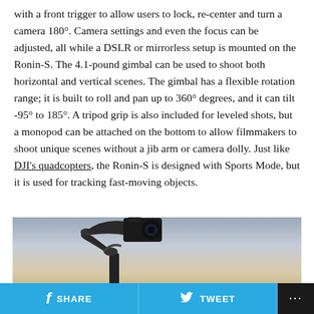with a front trigger to allow users to lock, re-center and turn a camera 180°. Camera settings and even the focus can be adjusted, all while a DSLR or mirrorless setup is mounted on the Ronin-S. The 4.1-pound gimbal can be used to shoot both horizontal and vertical scenes. The gimbal has a flexible rotation range; it is built to roll and pan up to 360° degrees, and it can tilt -95° to 185°. A tripod grip is also included for leveled shots, but a monopod can be attached on the bottom to allow filmmakers to shoot unique scenes without a jib arm or camera dolly. Just like DJI's quadcopters, the Ronin-S is designed with Sports Mode, but it is used for tracking fast-moving objects.
[Figure (photo): A camera gimbal (DJI Ronin-S) silhouetted against a hazy sky at dusk, with a DSLR camera mounted on it.]
f SHARE   [twitter bird] TWEET   ...